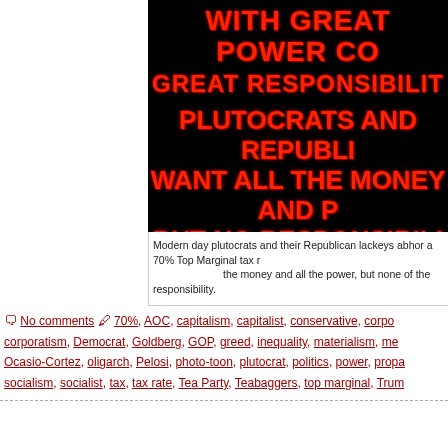[Figure (illustration): Black background image with bold red text: 'WITH GREAT POWER COMES GREAT RESPONSIBILITY' and 'PLUTOCRATS AND REPUBLICANS WANT ALL THE MONEY AND POWER BUT NO RESPONSIBILITY']
Modern day plutocrats and their Republican lackeys abhor a 70% Top Marginal tax r... the money and all the power, but none of the responsibility.
No comments  70%, AOC, capitalism, capitalist, conservative, corpo... corporatism, Democrat, Goldberg, GOP, greed, inequality, materialism, me... Ocasio-Cortez, oligarch, Pelosi, photo-toon, plutocrat, politics, power, propa... socialism, socialist, tax, tax rate, Tea Party, Teabaggers, top marginal, Trum...